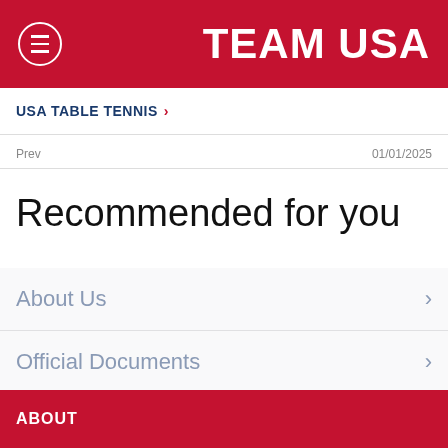TEAM USA
USA TABLE TENNIS >
Prev  01/01/2025
Recommended for you
About Us
Official Documents
ABOUT